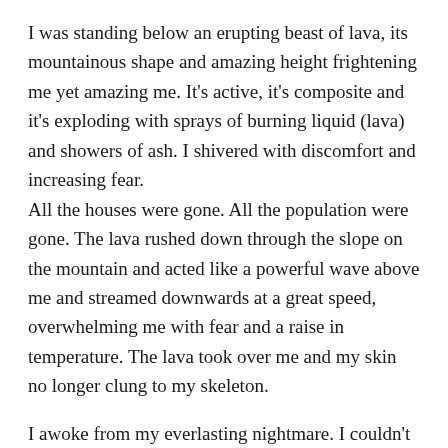I was standing below an erupting beast of lava, its mountainous shape and amazing height frightening me yet amazing me. It's active, it's composite and it's exploding with sprays of burning liquid (lava) and showers of ash. I shivered with discomfort and increasing fear. All the houses were gone. All the population were gone. The lava rushed down through the slope on the mountain and acted like a powerful wave above me and streamed downwards at a great speed, overwhelming me with fear and a raise in temperature. The lava took over me and my skin no longer clung to my skeleton.
I awoke from my everlasting nightmare. I couldn't see, my eyes were darkened over and my vision as blurred as stained glass. My insides were on fire and my skin was producing enough sweat to